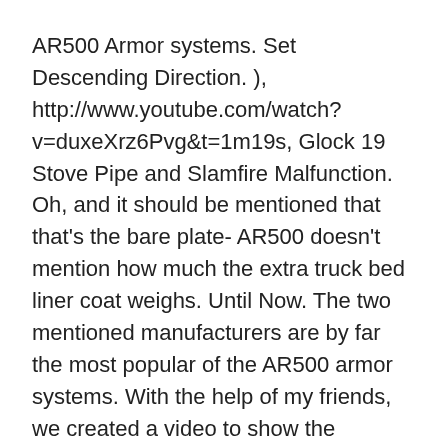AR500 Armor systems. Set Descending Direction. ), http://www.youtube.com/watch?v=duxeXrz6Pvg&t=1m19s, Glock 19 Stove Pipe and Slamfire Malfunction. Oh, and it should be mentioned that that's the bare plate- AR500 doesn't mention how much the extra truck bed liner coat weighs. Until Now. The two mentioned manufacturers are by far the most popular of the AR500 armor systems. With the help of my friends, we created a video to show the effectiveness and performance of each system as well as address some personal opinions regarding other aspects of each armor system. People who can afford the $700+ lightweight level 4 composite systems don't really need to be pinching pennies. In our research, plates coated with the standard non-build up coats were not able to successfully contain spalling & fragmentation. Shipping